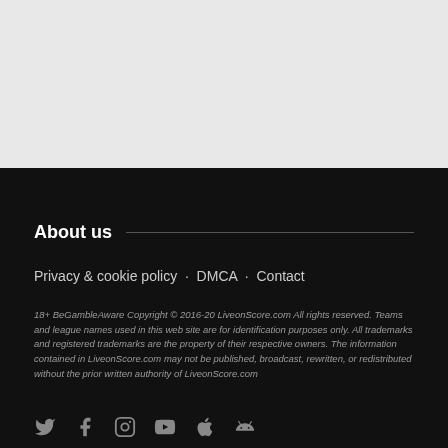About us
Privacy & cookie policy · DMCA · Contact
18+ BeGambleAware Copyright © 2016-20 LiveonScore.com All rights reserved. Teams and league names used in this web site are for identification purposes only. All trademarks and registered trademarks are the property of their respective owners. The information contained in LiveonScore.com may not be published, broadcast, rewritten, or redistributed without the prior written authority of LiveonScore.com
[Figure (other): Social media icons row: Twitter, Facebook, Instagram, YouTube, Apple, Android]